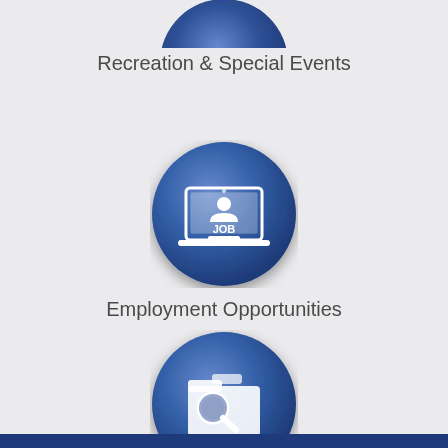[Figure (illustration): Partial blue circle icon at top of page, partially cut off, representing Recreation & Special Events]
Recreation & Special Events
[Figure (illustration): Blue circular button with a laptop showing 'JOB' text and a person icon, representing Employment Opportunities]
Employment Opportunities
[Figure (illustration): Blue circular button with a folder and magnifying glass icon, representing Agendas & Minutes]
Agendas & Minutes